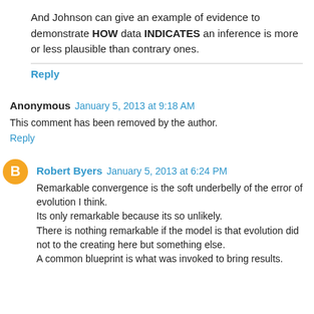And Johnson can give an example of evidence to demonstrate HOW data INDICATES an inference is more or less plausible than contrary ones.
Reply
Anonymous  January 5, 2013 at 9:18 AM
This comment has been removed by the author.
Reply
Robert Byers  January 5, 2013 at 6:24 PM
Remarkable convergence is the soft underbelly of the error of evolution I think.
Its only remarkable because its so unlikely.
There is nothing remarkable if the model is that evolution did not to the creating here but something else.
A common blueprint is what was invoked to bring results.